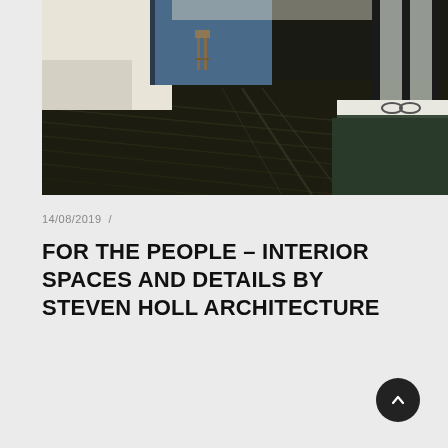[Figure (photo): Interior architectural photo showing a long dark wood floor hallway with floor-to-ceiling windows on the right side, a chair visible in the background, and sunglasses resting on a white ledge near the window.]
14/08/2019  /
FOR THE PEOPLE – INTERIOR SPACES AND DETAILS BY STEVEN HOLL ARCHITECTURE